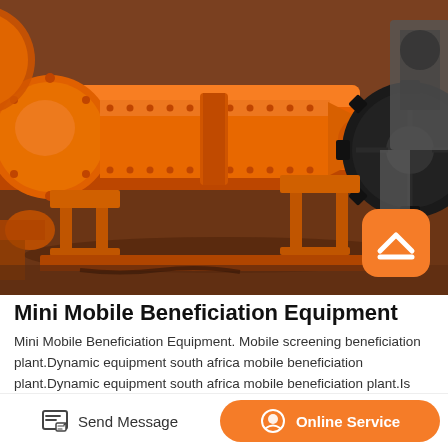[Figure (photo): Large orange industrial ball mill grinding machine in a factory/workshop setting. The orange cylindrical grinding mill is shown horizontally with bolted flanges, a large gear/sprocket on the right end, and metal support stands. Various machinery and equipment visible in the background.]
Mini Mobile Beneficiation Equipment
Mini Mobile Beneficiation Equipment. Mobile screening beneficiation plant.Dynamic equipment south africa mobile beneficiation plant.Dynamic equipment south africa mobile beneficiation plant.Is beneficiation plant mineral processing equipment,beneficiation plant mineral processing equipment,
Send Message | Online Service